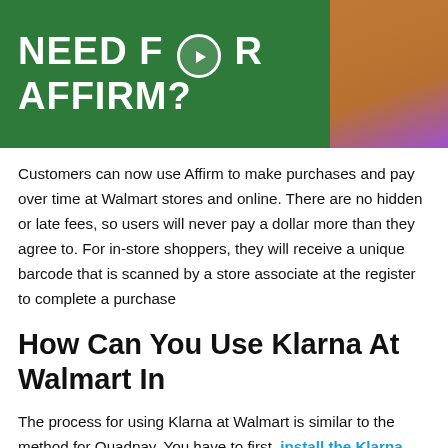[Figure (photo): Green background promotional image with bold white text reading 'NEED FOR AFFIRM?' with a play button icon, and a woman in a brown top on the right side with a purple accent.]
Customers can now use Affirm to make purchases and pay over time at Walmart stores and online. There are no hidden or late fees, so users will never pay a dollar more than they agree to. For in-store shoppers, they will receive a unique barcode that is scanned by a store associate at the register to complete a purchase
How Can You Use Klarna At Walmart In
The process for using Klarna at Walmart is similar to the method for Quadpay. You have to first install the Klarna app